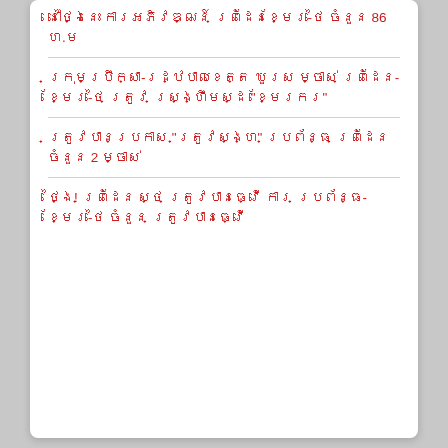នៅថ្ងៃនេះ ការអភិវឌ្ឍន៍ ព្រំដែនខ្មែរ-ថៃ ចំនួន 86 ហ.ម
ក្រុមប្រឹក្សា-រដ្ឋបាលខេត្ត ឃួរស ម្ចាស់ ព្រំដែន-ខ្មែរ-ថៃ ត្រូវ ស្ង្រ្ហឹមស្ដ "ខ្មែរករ"
ត្រូវបានប្រកាស "ត្រូវស្ង្ហ" ប្រព័ន្ធ ព្រំដែន ចំនួន 2 ម្ចាស់
ថ្ងៃ! ព្រំដែន ស្ថ ត្រូវបានធ្វើ ការ ប្រព័ន្ធ-ខ្មែរ-ថៃ ចំនួន ត្រូវបានធ្វើ